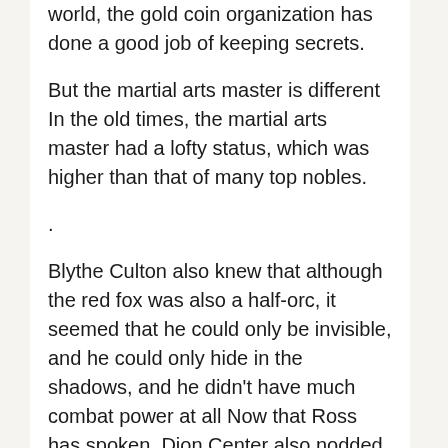world, the gold coin organization has done a good job of keeping secrets.
But the martial arts master is different In the old times, the martial arts master had a lofty status, which was higher than that of many top nobles.
.
Blythe Culton also knew that although the red fox was also a half-orc, it seemed that he could only be invisible, and he could only hide in the shadows, and he didn't have much combat power at all Now that Ross has spoken, Dion Center also nodded The red fox looked solemn, nodded and said, The skinny bunny pills forces behind the Wilson family are very secretive There are traces of transformation of people, but who is who, has not been investigated.